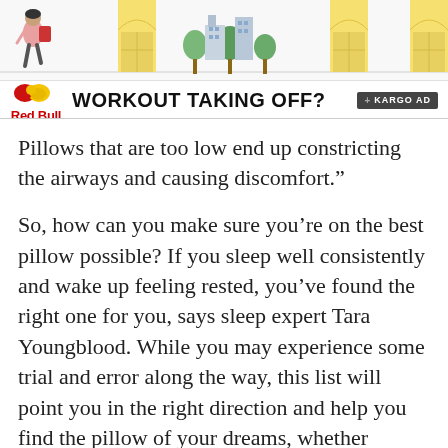[Figure (illustration): Advertisement banner with illustrated cityscape scene showing a person walking, yellow doors/arches, trees and city buildings. Red Bull logo with 'WORKOUT TAKING OFF?' tagline and Kargo Ad badge.]
Pillows that are too low end up constricting the airways and causing discomfort.”
So, how can you make sure you’re on the best pillow possible? If you sleep well consistently and wake up feeling rested, you’ve found the right one for you, says sleep expert Tara Youngblood. While you may experience some trial and error along the way, this list will point you in the right direction and help you find the pillow of your dreams, whether you’re looking for the best pillow for side sleepers,